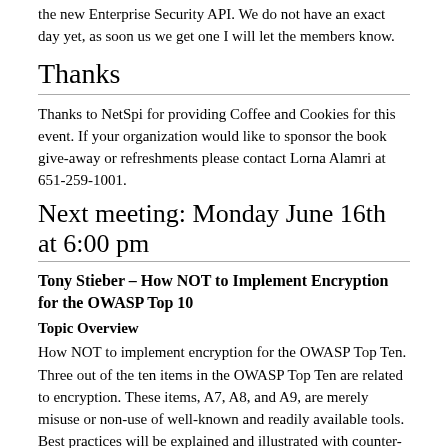the new Enterprise Security API. We do not have an exact day yet, as soon us we get one I will let the members know.
Thanks
Thanks to NetSpi for providing Coffee and Cookies for this event. If your organization would like to sponsor the book give-away or refreshments please contact Lorna Alamri at 651-259-1001.
Next meeting: Monday June 16th at 6:00 pm
Tony Stieber – How NOT to Implement Encryption for the OWASP Top 10
Topic Overview
How NOT to implement encryption for the OWASP Top Ten. Three out of the ten items in the OWASP Top Ten are related to encryption. These items, A7, A8, and A9, are merely misuse or non-use of well-known and readily available tools. Best practices will be explained and illustrated with counter-examples with the